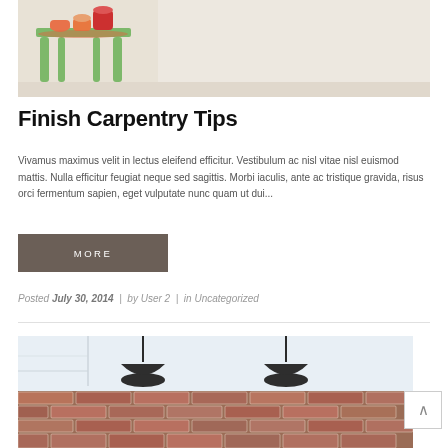[Figure (photo): Photo of a green wooden side table with orange/red mugs and saucers on top, against a light beige/cream wall]
Finish Carpentry Tips
Vivamus maximus velit in lectus eleifend efficitur. Vestibulum ac nisl vitae nisl euismod mattis. Nulla efficitur feugiat neque sed sagittis. Morbi iaculis, ante ac tristique gravida, risus orci fermentum sapien, eget vulputate nunc quam ut dui...
MORE
Posted July 30, 2014 | by User 2 | in Uncategorized
[Figure (photo): Photo of a brick wall interior with two black pendant lights hanging from the ceiling, with windows visible]